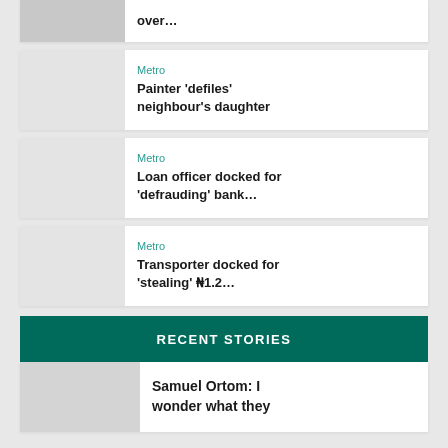over…
Metro
Painter 'defiles' neighbour's daughter
Metro
Loan officer docked for 'defrauding' bank…
Metro
Transporter docked for 'stealing' ₦1.2…
RECENT STORIES
Samuel Ortom: I wonder what they